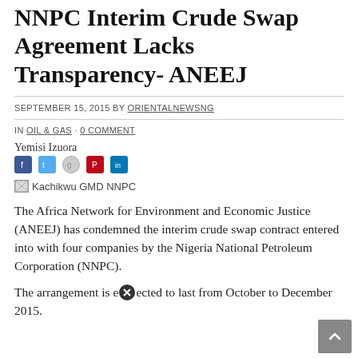NNPC Interim Crude Swap Agreement Lacks Transparency- ANEEJ
SEPTEMBER 15, 2015 BY ORIENTALNEWSNG
IN OIL & GAS · 0 COMMENT
Yemisi Izuora
[Figure (photo): Social media sharing icons (Facebook, Twitter, Google+, Pinterest, LinkedIn) and broken image placeholder labeled 'Kachikwu GMD NNPC']
The Africa Network for Environment and Economic Justice (ANEEJ) has condemned the interim crude swap contract entered into with four companies by the Nigeria National Petroleum Corporation (NNPC).
The arrangement is expected to last from October to December 2015.